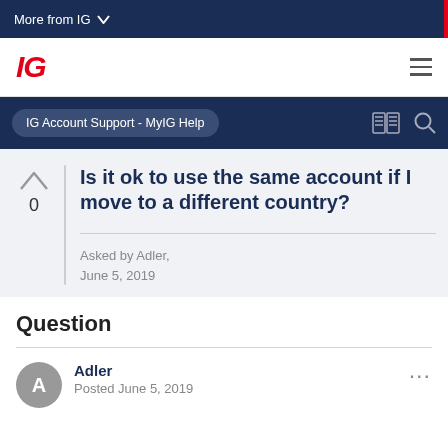More from IG
[Figure (logo): IG logo in red italic bold text]
IG Account Support - MyIG Help
Is it ok to use the same account if I move to a different country?
Asked by Adler, June 5, 2019
Question
Adler
Posted June 5, 2019